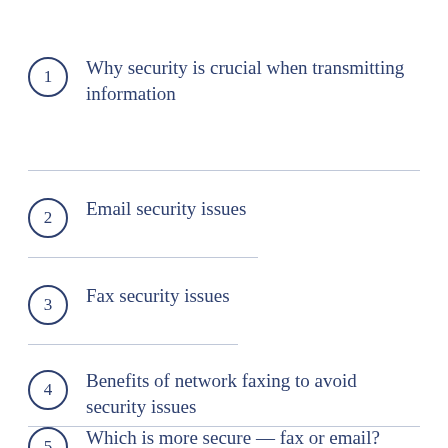1. Why security is crucial when transmitting information
2. Email security issues
3. Fax security issues
4. Benefits of network faxing to avoid security issues
5. Which is more secure — fax or email?